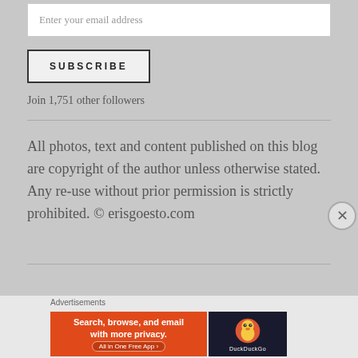Enter your email address
SUBSCRIBE
Join 1,751 other followers
All photos, text and content published on this blog are copyright of the author unless otherwise stated. Any re-use without prior permission is strictly prohibited. © erisgoesto.com
Advertisements
[Figure (screenshot): DuckDuckGo advertisement banner: 'Search, browse, and email with more privacy. All in One Free App' on orange background with DuckDuckGo logo on dark background]